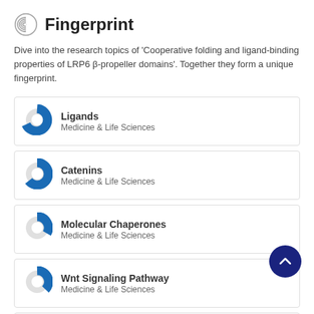Fingerprint
Dive into the research topics of 'Cooperative folding and ligand-binding properties of LRP6 β-propeller domains'. Together they form a unique fingerprint.
Ligands — Medicine & Life Sciences
Catenins — Medicine & Life Sciences
Molecular Chaperones — Medicine & Life Sciences
Wnt Signaling Pathway — Medicine & Life Sciences
Growth and Development